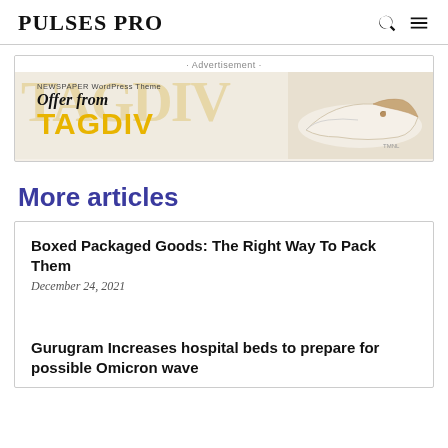PULSES PRO
[Figure (other): Advertisement banner with TAGDIV newspaper WordPress theme offer and a sneaker shoe image]
More articles
Boxed Packaged Goods: The Right Way To Pack Them
December 24, 2021
Gurugram Increases hospital beds to prepare for possible Omicron wave